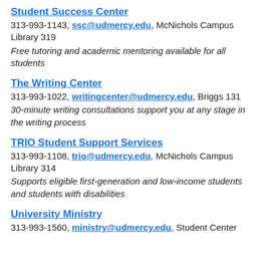Student Success Center
313-993-1143, ssc@udmercy.edu, McNichols Campus Library 319
Free tutoring and academic mentoring available for all students
The Writing Center
313-993-1022, writingcenter@udmercy.edu, Briggs 131
30-minute writing consultations support you at any stage in the writing process
TRIO Student Support Services
313-993-1108, trio@udmercy.edu, McNichols Campus Library 314
Supports eligible first-generation and low-income students and students with disabilities
University Ministry
313-993-1560, ministry@udmercy.edu, Student Center